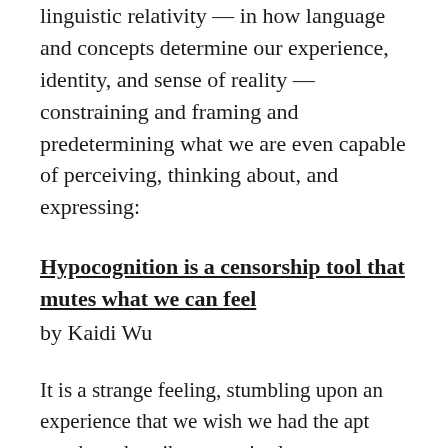linguistic relativity — in how language and concepts determine our experience, identity, and sense of reality — constraining and framing and predetermining what we are even capable of perceiving, thinking about, and expressing:
Hypocognition is a censorship tool that mutes what we can feel
by Kaidi Wu
It is a strange feeling, stumbling upon an experience that we wish we had the apt words to describe, a precise language to capture. When we don't, we